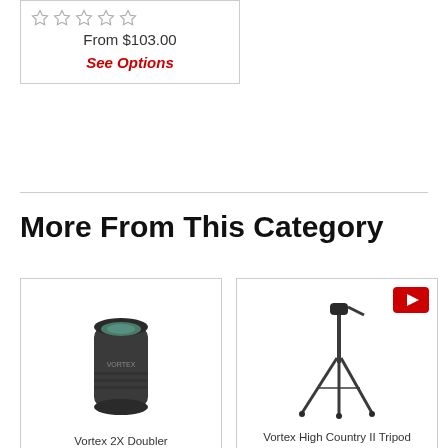[Figure (other): Star rating (5 empty stars) and price 'From $103.00' with 'See Options' link in a product card fragment at top]
From $103.00
See Options
More From This Category
[Figure (photo): Vortex 2X Doubler lens accessory product image in a card]
Vortex 2X Doubler
[Figure (photo): Vortex High Country II Tripod product image in a card with YouTube video badge]
Vortex High Country II Tripod